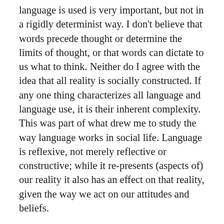language is used is very important, but not in a rigidly determinist way. I don't believe that words precede thought or determine the limits of thought, or that words can dictate to us what to think. Neither do I agree with the idea that all reality is socially constructed. If any one thing characterizes all language and language use, it is their inherent complexity. This was part of what drew me to study the way language works in social life. Language is reflexive, not merely reflective or constructive; while it re-presents (aspects of) our reality it also has an effect on that reality, given the way we act on our attitudes and beliefs.
When a word is used over and over without a definition being provided, there is an assumption being made. Assumptions are always necessary in